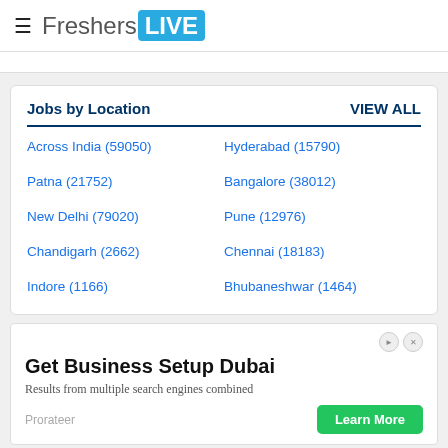FreshersLIVE
Jobs by Location    VIEW ALL
Across India (59050)
Hyderabad (15790)
Patna (21752)
Bangalore (38012)
New Delhi (79020)
Pune (12976)
Chandigarh (2662)
Chennai (18183)
Indore (1166)
Bhubaneshwar (1464)
[Figure (screenshot): Advertisement banner: Get Business Setup Dubai. Results from multiple search engines combined. Learn More button. Prorateer brand.]